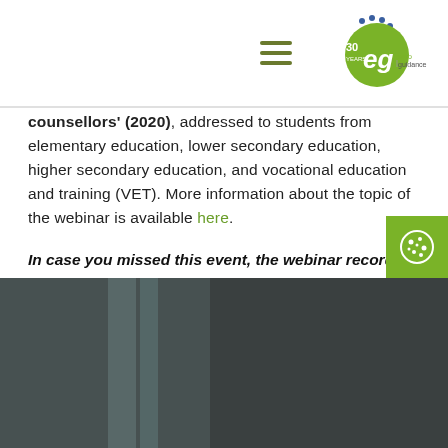Euroguidance 30 Years Logo
counsellors' (2020), addressed to students from elementary education, lower secondary education, higher secondary education, and vocational education and training (VET). More information about the topic of the webinar is available here.
In case you missed this event, the webinar recording is available here.
The webinar and webinar recording is technically supported by Euroguidance Serbia.
[Figure (photo): Dark background image at the bottom of the page showing a blurred interior scene]